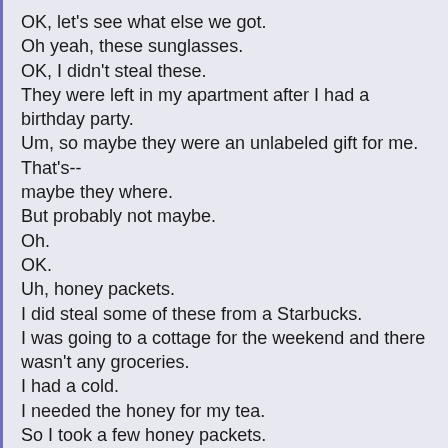OK, let's see what else we got.
Oh yeah, these sunglasses.
OK, I didn't steal these.
They were left in my apartment after I had a birthday party.
Um, so maybe they were an unlabeled gift for me.
That's--
maybe they where.
But probably not maybe.
Oh.
OK.
Uh, honey packets.
I did steal some of these from a Starbucks.
I was going to a cottage for the weekend and there wasn't any groceries.
I had a cold.
I needed the honey for my tea.
So I took a few honey packets.
And it was a-- it was a fancy friend person's cottage.
They had a fancy dog that pulled out one of the honey packets from my purse and brought it back to the owner.
And they were like, he brought this from your purse.